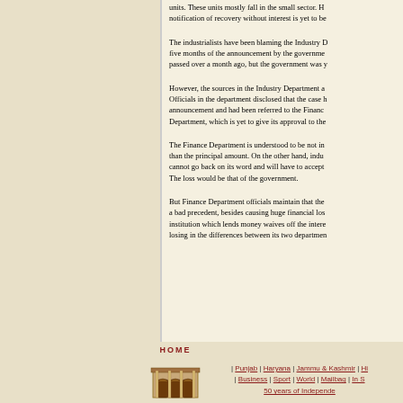units. These units mostly fall in the small sector. However, notification of recovery without interest is yet to be issued.
The industrialists have been blaming the Industry Department for the delay as five months of the announcement by the government, the deadline for filing had passed over a month ago, but the government was yet to issue the notification.
However, the sources in the Industry Department are putting the blame elsewhere. Officials in the department disclosed that the case had been prepared after the announcement and had been referred to the Finance Department, which is yet to give its approval to the scheme.
The Finance Department is understood to be not in favour of waiving off more than the principal amount. On the other hand, industrialists argue that the government cannot go back on its word and will have to accept the loss of interest amount. The loss would be that of the government.
But Finance Department officials maintain that the scheme would set a bad precedent, besides causing huge financial loss to the state. If the institution which lends money waives off the interest, the government would be losing in the differences between its two departments.
| Punjab | Haryana | Jammu & Kashmir | Hi... | Business | Sport | World | Mailbag | In S... 50 years of Independe...